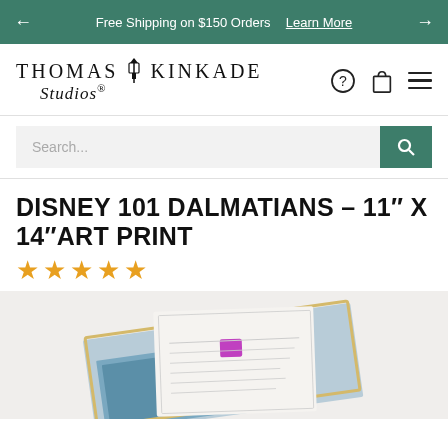← Free Shipping on $150 Orders  Learn More →
[Figure (logo): Thomas Kinkade Studios logo with lantern icon]
Search...
DISNEY 101 DALMATIANS – 11" X 14"ART PRINT
★★★★★ (0 stars / empty rating)
[Figure (photo): Product photo showing an art print with a certificate of authenticity on top, gold-edged artwork visible beneath]